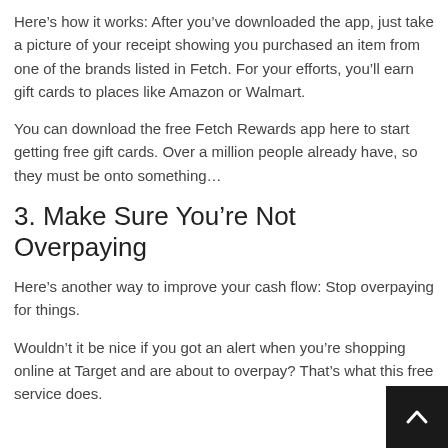Hereâs how it works: After youâve downloaded the app, just take a picture of your receipt showing you purchased an item from one of the brands listed in Fetch. For your efforts, youâll earn gift cards to places like Amazon or Walmart.
You can download the free Fetch Rewards app here to start getting free gift cards. Over a million people already have, so they must be onto somethingâ¦
3. Make Sure Youâre Not Overpaying
Hereâs another way to improve your cash flow: Stop overpaying for things.
Wouldnât it be nice if you got an alert when youâre shopping online at Target and are about to overpay? Thatâs what this free service does.